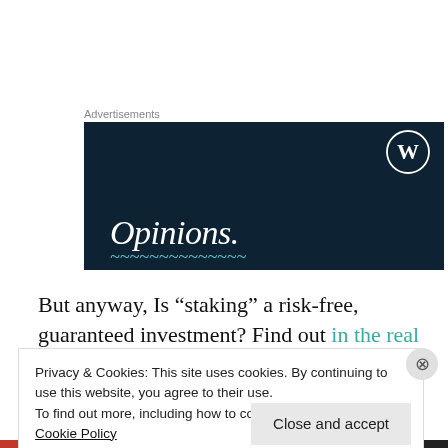Advertisements
[Figure (illustration): Dark navy advertisement banner with WordPress logo (W in circle) in top right, large italic serif text 'Opinions.' in white, and teal italic text partially visible at bottom.]
But anyway, Is “staking” a risk-free, guaranteed investment? Find out in the real article, or get a taste after the jump:
Privacy & Cookies: This site uses cookies. By continuing to use this website, you agree to their use.
To find out more, including how to control cookies, see here: Cookie Policy
Close and accept